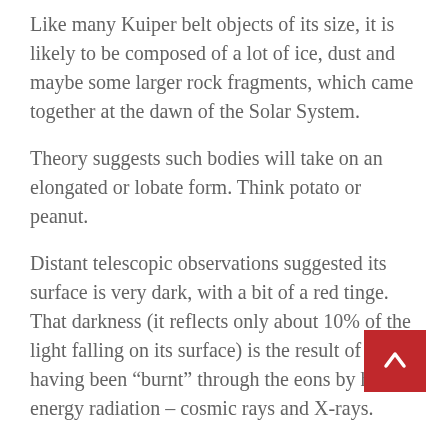Like many Kuiper belt objects of its size, it is likely to be composed of a lot of ice, dust and maybe some larger rock fragments, which came together at the dawn of the Solar System.
Theory suggests such bodies will take on an elongated or lobate form. Think potato or peanut.
Distant telescopic observations suggested its surface is very dark, with a bit of a red tinge. That darkness (it reflects only about 10% of the light falling on its surface) is the result of having been “burnt” through the eons by high-energy radiation – cosmic rays and X-rays.
New Horizons will study Ultima’s shape, rotation, composition and environment.
Scientists want to know how these far-off worlds were assembled. One idea is that they grew from the